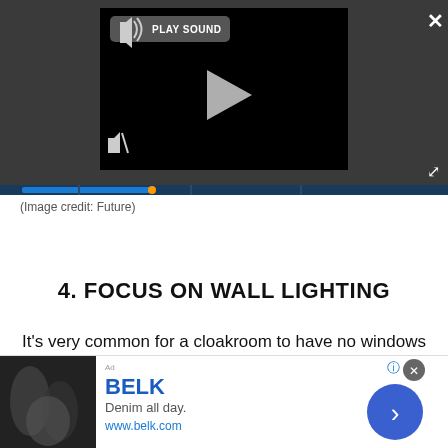[Figure (screenshot): Video player UI with black screen, play button, mute icon, PLAY SOUND button, close (X) button, expand button, and a blue progress bar at the bottom over a dark gray background.]
(Image credit: Future)
4. FOCUS ON WALL LIGHTING
It's very common for a cloakroom to have no windows at all. And, to add to the awkwardness of the space, very often the ceiling can be sloping as the cloakroom is tucked into the cupboard under the stairs. Together
[Figure (screenshot): Advertisement banner for BELK. Shows fashion images on left, BELK brand name in blue, tagline 'Denim all day.' and URL 'www.belk.com', with a blue circular arrow button on the right.]